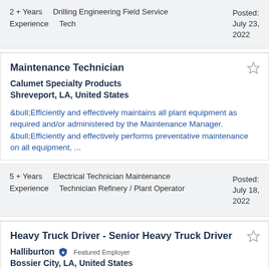2 + Years Experience  Drilling Engineering Field Service Tech  Posted: July 23, 2022
Maintenance Technician
Calumet Specialty Products
Shreveport, LA, United States
&bull;Efficiently and effectively maintains all plant equipment as required and/or administered by the Maintenance Manager. &bull;Efficiently and effectively performs preventative maintenance on all equipment, ...
5 + Years Experience  Electrical Technician Maintenance  Technician Refinery / Plant Operator  Posted: July 18, 2022
Heavy Truck Driver - Senior Heavy Truck Driver
Halliburton  Featured Employer
Bossier City, LA, United States